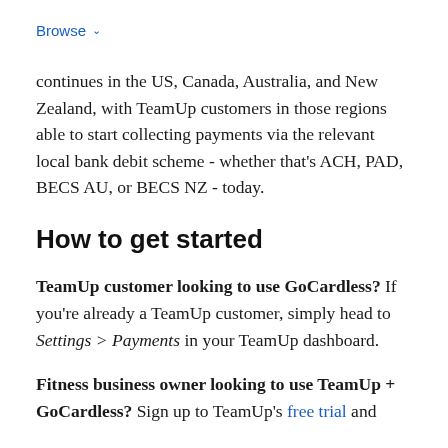Browse
continues in the US, Canada, Australia, and New Zealand, with TeamUp customers in those regions able to start collecting payments via the relevant local bank debit scheme - whether that’s ACH, PAD, BECS AU, or BECS NZ - today.
How to get started
TeamUp customer looking to use GoCardless? If you’re already a TeamUp customer, simply head to Settings > Payments in your TeamUp dashboard.
Fitness business owner looking to use TeamUp + GoCardless? Sign up to TeamUp’s free trial and